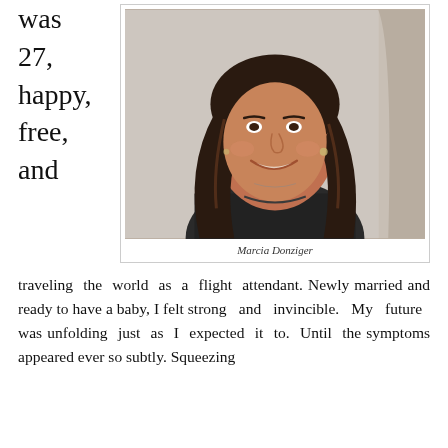was 27, happy, free, and
[Figure (photo): Professional headshot of a smiling woman with long dark brown hair, wearing a dark top, seated in front of a light background.]
Marcia Donziger
traveling the world as a flight attendant. Newly married and ready to have a baby, I felt strong and invincible. My future was unfolding just as I expected it to. Until the symptoms appeared ever so subtly. Squeezing